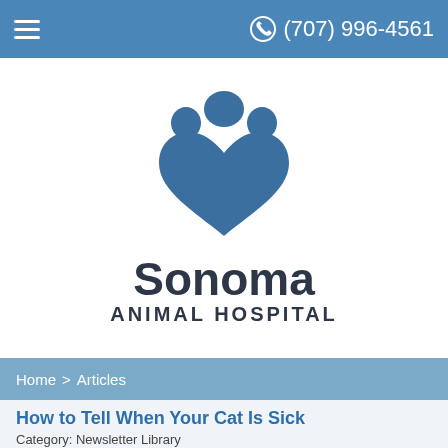(707) 996-4561
[Figure (logo): Sonoma Animal Hospital logo: blue paw print icon above the text 'Sonoma ANIMAL HOSPITAL']
Home > Articles
How to Tell When Your Cat Is Sick
Category: Newsletter Library